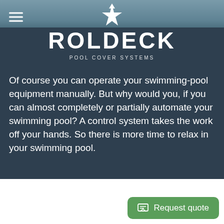[Figure (logo): Roldeck star logo and brand name with tagline 'Pool Cover Systems' on a steel blue navigation bar with hamburger menu icon]
ROLDECK
POOL COVER SYSTEMS
Of course you can operate your swimming-pool equipment manually. But why would you, if you can almost completely or partially automate your swimming pool? A control system takes the work off your hands. So there is more time to relax in your swimming pool.
Request quote